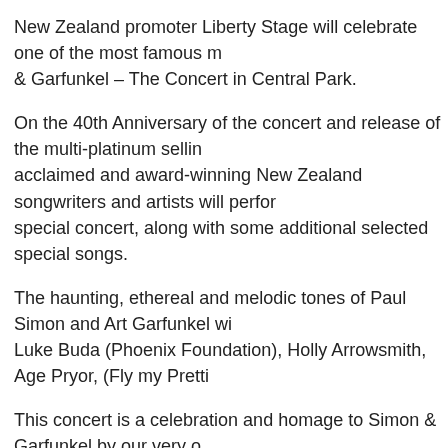New Zealand promoter Liberty Stage will celebrate one of the most famous m... & Garfunkel – The Concert in Central Park.
On the 40th Anniversary of the concert and release of the multi-platinum sellin... acclaimed and award-winning New Zealand songwriters and artists will perfor... special concert, along with some additional selected special songs.
The haunting, ethereal and melodic tones of Paul Simon and Art Garfunkel wi... Luke Buda (Phoenix Foundation), Holly Arrowsmith, Age Pryor, (Fly my Pretti...
This concert is a celebration and homage to Simon & Garfunkel by our very o... absolute must see for Simon & Garfunkel fans!
It was September 1981 and a reported 500,000 New Yorkers turned out for th... Aside from being arguably the first major rock event of the 1980s; culturally, t... music's most important forces coming full circle.
Not only did it reunite Paul Simon and Art Garfunkel but it saw their music cro... much the same way The Beatles' music had.
The concert was mainly comprised of Simon & Garfunkel's '60s classics, inclu... America, The Sound Of Silence, Mrs Robinson, The Boxer, Old Friends, April... Fair, The 59th Street Bridge Song (Feelin' Groovy) and Bridge Over Troubled...
The duo also performed several of Simon's '70s hits, such as Kodachrome...